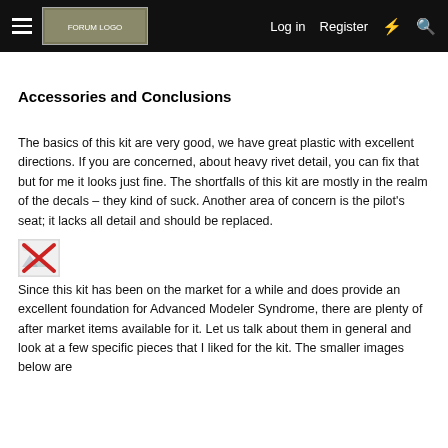Log in  Register
Accessories and Conclusions
The basics of this kit are very good, we have great plastic with excellent directions. If you are concerned, about heavy rivet detail, you can fix that but for me it looks just fine. The shortfalls of this kit are mostly in the realm of the decals – they kind of suck. Another area of concern is the pilot's seat; it lacks all detail and should be replaced.
[Figure (other): Broken image placeholder icon (red X on white background)]
Since this kit has been on the market for a while and does provide an excellent foundation for Advanced Modeler Syndrome, there are plenty of after market items available for it. Let us talk about them in general and look at a few specific pieces that I liked for the kit. The smaller images below are